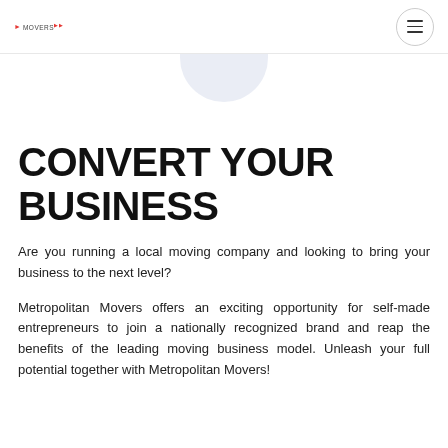Metropolitan Movers logo and navigation menu
[Figure (illustration): Partial light blue/lavender circle graphic visible at top center of page, cropped at top]
CONVERT YOUR BUSINESS
Are you running a local moving company and looking to bring your business to the next level?
Metropolitan Movers offers an exciting opportunity for self-made entrepreneurs to join a nationally recognized brand and reap the benefits of the leading moving business model. Unleash your full potential together with Metropolitan Movers!